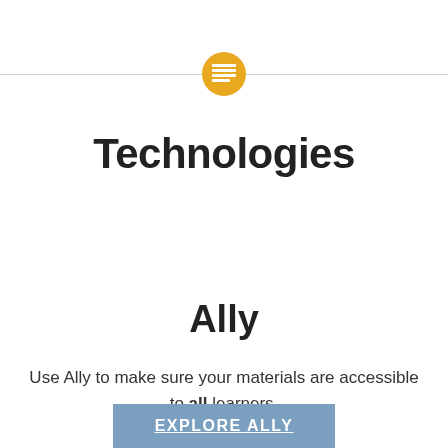[Figure (illustration): Gold/yellow circle icon with a horizontal lines/table symbol, flanked by thin horizontal lines on each side]
Technologies
Ally
Use Ally to make sure your materials are accessible to all learners.
Explore Ally